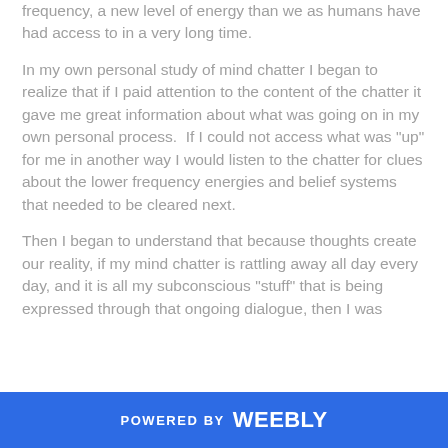frequency, a new level of energy than we as humans have had access to in a very long time.
In my own personal study of mind chatter I began to realize that if I paid attention to the content of the chatter it gave me great information about what was going on in my own personal process. If I could not access what was "up" for me in another way I would listen to the chatter for clues about the lower frequency energies and belief systems that needed to be cleared next.
Then I began to understand that because thoughts create our reality, if my mind chatter is rattling away all day every day, and it is all my subconscious "stuff" that is being expressed through that ongoing dialogue, then I was
POWERED BY weebly